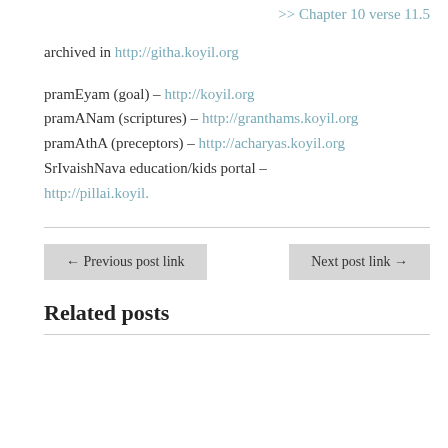>> Chapter 10 verse 11.5
archived in http://githa.koyil.org
pramEyam (goal) – http://koyil.org
pramANam (scriptures) – http://granthams.koyil.org
pramAthA (preceptors) – http://acharyas.koyil.org
SrIvaishNava education/kids portal – http://pillai.koyil.
← Previous post link
Next post link →
Related posts